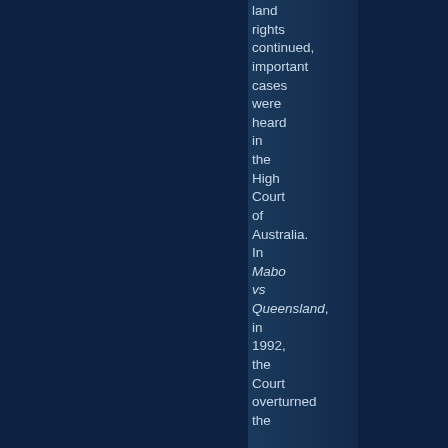land rights continued, important cases were heard in the High Court of Australia. In Mabo vs Queensland, in 1992, the Court overturned the